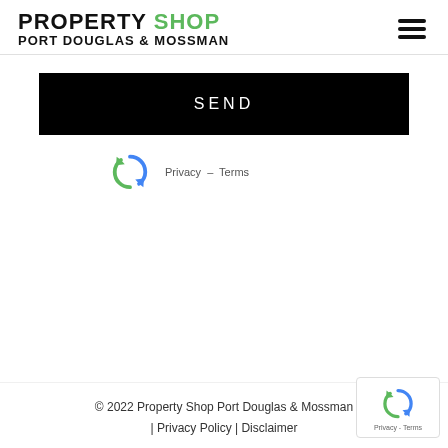PROPERTY SHOP PORT DOUGLAS & MOSSMAN
SEND
[Figure (logo): reCAPTCHA logo with arrows forming a recycling symbol in blue and green]
Privacy - Terms
© 2022 Property Shop Port Douglas & Mossman | Privacy Policy | Disclaimer